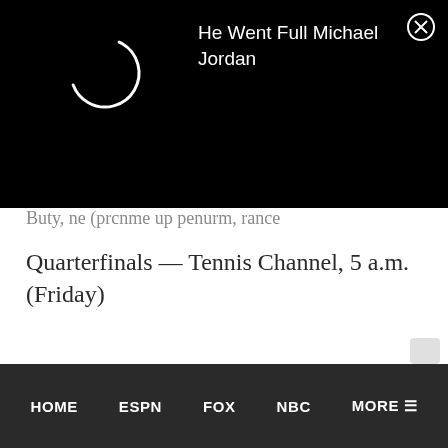[Figure (screenshot): Black notification overlay banner with a circular loading spinner on the left and close (X) button on the top right]
He Went Full Michael Jordan
Quarterfinals — Tennis Channel, 5 a.m. (Friday)
HOME   ESPN   FOX   NBC   MORE